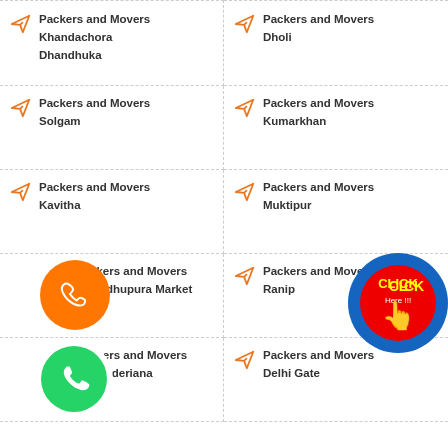Packers and Movers Khandachora Dhandhuka
Packers and Movers Dholi
Packers and Movers Solgam
Packers and Movers Kumarkhan
Packers and Movers Kavitha
Packers and Movers Muktipur
Packers and Movers Madhupura Market
Packers and Movers Ranip
Packers and Movers Sunderiana
Packers and Movers Delhi Gate